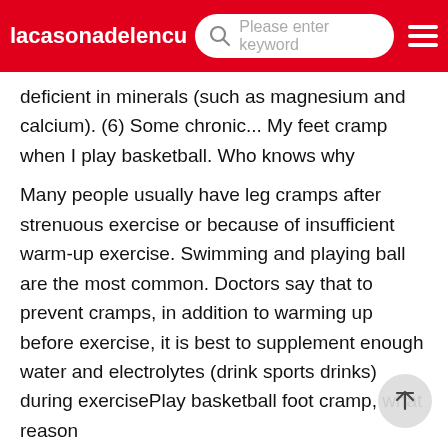lacasonadelencu  Please enter keyword
deficient in minerals (such as magnesium and calcium). (6) Some chronic... My feet cramp when I play basketball. Who knows why
Many people usually have leg cramps after strenuous exercise or because of insufficient warm-up exercise. Swimming and playing ball are the most common. Doctors say that to prevent cramps, in addition to warming up before exercise, it is best to supplement enough water and electrolytes (drink sports drinks) during exercisePlay basketball foot cramp, what reason
Ha ha, it's normal to have cramps in your feet when playing basketball. It is unobstructed because the amount of exercise is a little larger, and then the sweat from playing ball take away the electrolytes in the body. Sit down after cramping, straighten your legs as much as possible, and pull your toes